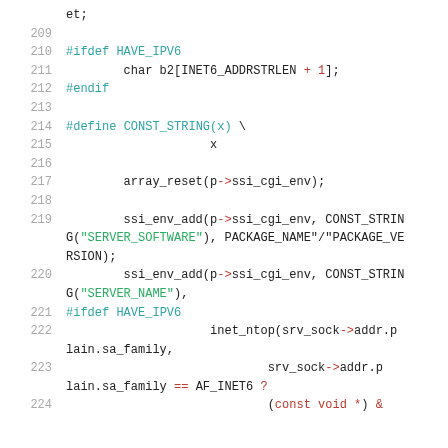[Figure (screenshot): Source code listing showing C code lines 209-224 with syntax highlighting. Keywords in cyan (#ifdef, #endif, #define), strings in green, operators in red.]